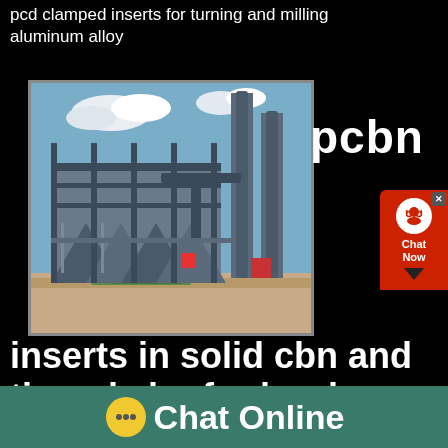pcd clamped inserts for turning and milling aluminum alloy
[Figure (photo): Industrial facility with large metal structures, hoppers, chimneys and processing equipment against a blue sky]
pcbn
[Figure (other): Chat Now button widget with headset icon in red]
inserts in solid cbn and tipped cbn for hard turning
PCBN inserts for machining...
[Figure (other): Chat Online bar with yellow speech bubble icon]